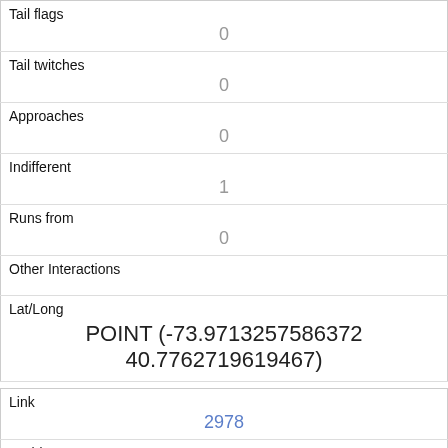| Tail flags | 0 |
| Tail twitches | 0 |
| Approaches | 0 |
| Indifferent | 1 |
| Runs from | 0 |
| Other Interactions |  |
| Lat/Long | POINT (-73.9713257586372 40.7762719619467) |
| Link | 2978 |
| rowid | 2978 |
| longitude |  |